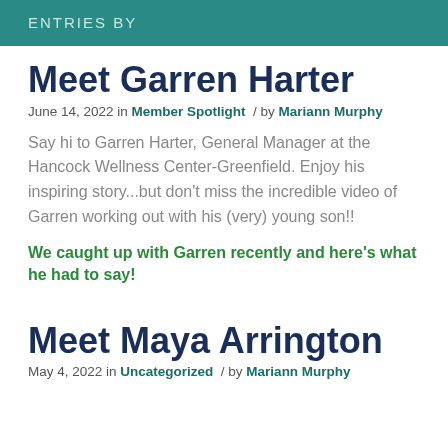ENTRIES BY
Meet Garren Harter
June 14, 2022 in Member Spotlight / by Mariann Murphy
Say hi to Garren Harter, General Manager at the Hancock Wellness Center-Greenfield. Enjoy his inspiring story...but don't miss the incredible video of Garren working out with his (very) young son!!
We caught up with Garren recently and here’s what he had to say!
Meet Maya Arrington
May 4, 2022 in Uncategorized / by Mariann Murphy